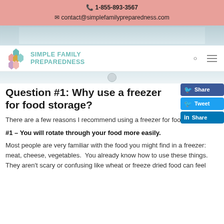📞 1-855-893-3567
✉ contact@simplefamilypreparedness.com
[Figure (screenshot): Hero banner image of a refrigerator/kitchen interior, partially visible]
[Figure (logo): Simple Family Preparedness logo with hexagonal honeycomb icon and teal text]
[Figure (screenshot): Lower portion of hero image with circular button]
Facebook Share button, Twitter Tweet button, LinkedIn Share button
Question #1: Why use a freezer for food storage?
There are a few reasons I recommend using a freezer for food storage:
#1 – You will rotate through your food more easily.
Most people are very familiar with the food you might find in a freezer: meat, cheese, vegetables.  You already know how to use these things.  They aren't scary or confusing like wheat or freeze dried food can feel